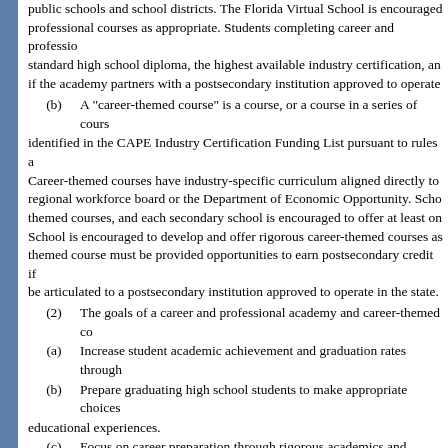public schools and school districts. The Florida Virtual School is encouraged to offer professional courses as appropriate. Students completing career and professional academy standard high school diploma, the highest available industry certification, and postsecondary credit if the academy partners with a postsecondary institution approved to operate in the state.
(b) A “career-themed course” is a course, or a course in a series of courses, identified in the CAPE Industry Certification Funding List pursuant to rules adopted Career-themed courses have industry-specific curriculum aligned directly to regional workforce board or the Department of Economic Opportunity. School themed courses, and each secondary school is encouraged to offer at least one. School is encouraged to develop and offer rigorous career-themed courses as themed course must be provided opportunities to earn postsecondary credit if be articulated to a postsecondary institution approved to operate in the state.
(2) The goals of a career and professional academy and career-themed course
(a) Increase student academic achievement and graduation rates through
(b) Prepare graduating high school students to make appropriate choices educational experiences.
(c) Focus on career preparation through rigorous academics and industry
(d) Raise student aspiration and commitment to academic achievement and coursework.
(e) Promote acceleration mechanisms, such as dual enrollment or articulation postsecondary credit while in high school.
(f) Support the state’s economy by meeting industry needs for skilled employees in high-demand occupations.